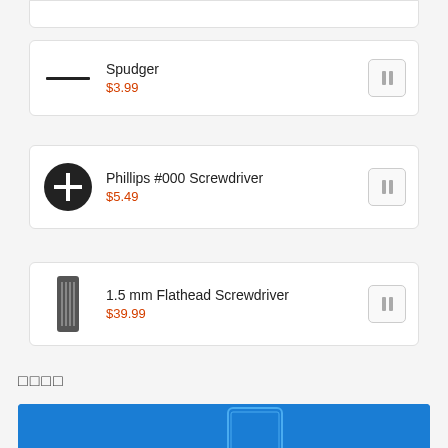Spudger $3.99
Phillips #000 Screwdriver $5.49
1.5 mm Flathead Screwdriver $39.99
□□□□
[Figure (photo): Blue banner with outline illustration of a tablet device]